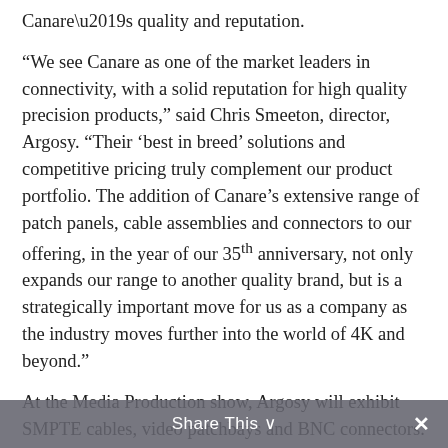Canare’s quality and reputation.
“We see Canare as one of the market leaders in connectivity, with a solid reputation for high quality precision products,” said Chris Smeeton, director, Argosy. “Their ‘best in breed’ solutions and competitive pricing truly complement our product portfolio. The addition of Canare’s extensive range of patch panels, cable assemblies and connectors to our offering, in the year of our 35th anniversary, not only expands our range to another quality brand, but is a strategically important move for us as a company as the industry moves further into the world of 4K and beyond.”
At the Media Production show, Argosy will exhibit SMPTE cables, video patchbays and BNC connectors. Visitors can also see how the Argosy catalogue supports the production environment, with a particular emphasis on harsh environment cable solutions, tactical fibre assemblies, deployable reels, multi-way coaxial cables and SMPTE camera assemblies, all of which are ideally suited to outside broadcast or studio applications.
Share This ∨  ×